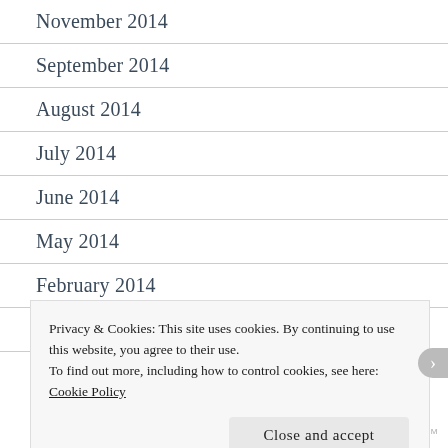November 2014
September 2014
August 2014
July 2014
June 2014
May 2014
February 2014
January 2014
December 2013
Privacy & Cookies: This site uses cookies. By continuing to use this website, you agree to their use.
To find out more, including how to control cookies, see here:
Cookie Policy
Close and accept
WORDPRESS.COM